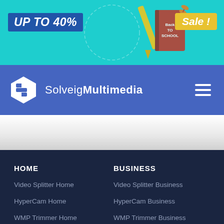[Figure (illustration): Back to school promotional banner with teal background, 'UP TO 40%' text on blue badge, school supplies illustration in center, and yellow 'Sale!' badge on right]
[Figure (logo): SolveigMultimedia logo with white hexagonal S icon and navigation bar on blue background with hamburger menu icon]
HOME
Video Splitter Home
HyperCam Home
WMP Trimmer Home
Video Splitter MAC
BUSINESS
Video Splitter Business
HyperCam Business
WMP Trimmer Business
Zond 265 - HEVC Analyzer